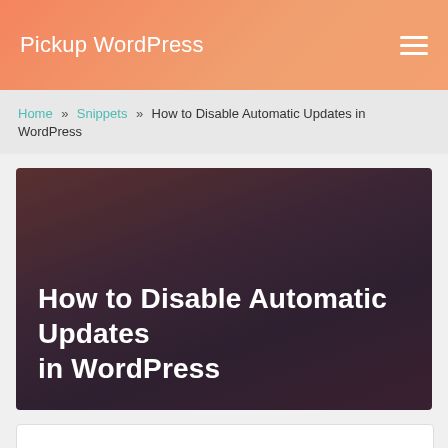Pickup WordPress
Home » Snippets » How to Disable Automatic Updates in WordPress
[Figure (photo): Dark gradient background image with overlaid article title text: 'How to Disable Automatic Updates in WordPress']
How to Disable Automatic Updates in WordPress